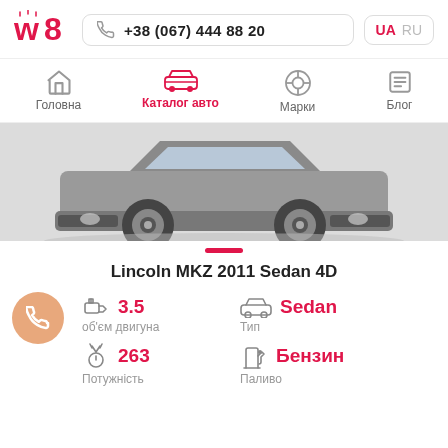w8 | +38 (067) 444 88 20 | UA | RU
[Figure (illustration): Navigation bar with icons: house (Головна), car (Каталог авто, highlighted red), VW logo (Марки), list (Блог)]
[Figure (photo): Front-lower view of a gray Lincoln MKZ 2011 Sedan 4D car on light gray background]
Lincoln MKZ 2011 Sedan 4D
3.5 — об'єм двигуна
Sedan — Тип
263 — Потужність
Бензин — Паливо